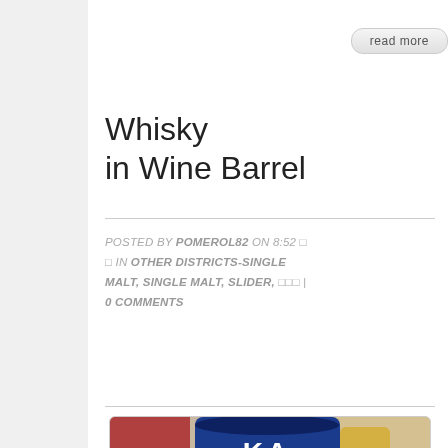read more
Whisky in Wine Barrel
POSTED BY POMEROL82 ON 8:52 □ □ IN OTHER DISTRICTS-SINGLE MALT, SINGLE MALT, SLIDER, □□□ | 0 COMMENTS
[Figure (photo): Photo of a Kavalan Solist Vinho Barrique single malt whisky bottle in a blue cylindrical tube, with other bottles visible in the blurred background]